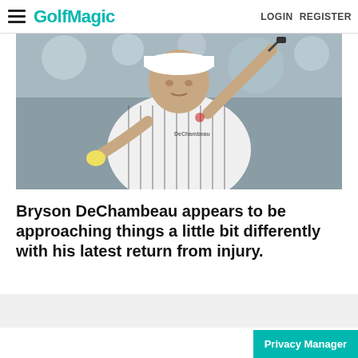GolfMagic  LOGIN  REGISTER
[Figure (photo): Bryson DeChambeau swinging a golf club, wearing a white striped polo shirt, outdoor background with bokeh lighting]
Bryson DeChambeau appears to be approaching things a little bit differently with his latest return from injury.
Privacy Manager